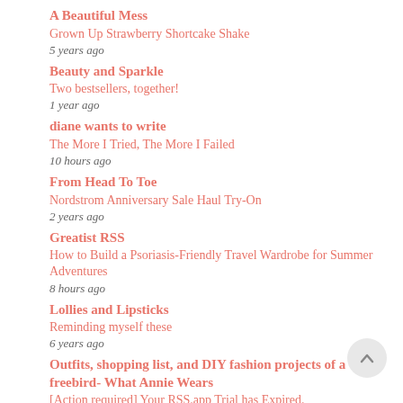A Beautiful Mess
Grown Up Strawberry Shortcake Shake
5 years ago
Beauty and Sparkle
Two bestsellers, together!
1 year ago
diane wants to write
The More I Tried, The More I Failed
10 hours ago
From Head To Toe
Nordstrom Anniversary Sale Haul Try-On
2 years ago
Greatist RSS
How to Build a Psoriasis-Friendly Travel Wardrobe for Summer Adventures
8 hours ago
Lollies and Lipsticks
Reminding myself these
6 years ago
Outfits, shopping list, and DIY fashion projects of a freebird- What Annie Wears
[Action required] Your RSS.app Trial has Expired.
2 hours ago